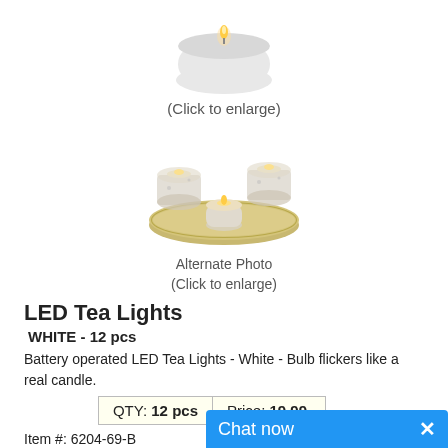[Figure (photo): LED tea light candle product image on white background]
(Click to enlarge)
[Figure (photo): Alternate photo showing LED tea lights in decorative glass holders on a silver tray]
Alternate Photo
(Click to enlarge)
LED Tea Lights
WHITE - 12 pcs
Battery operated LED Tea Lights - White - Bulb flickers like a real candle.
| QTY: | Price: |
| --- | --- |
| 12 pcs | 19.99 |
Item #: 6204-69-B    Qty